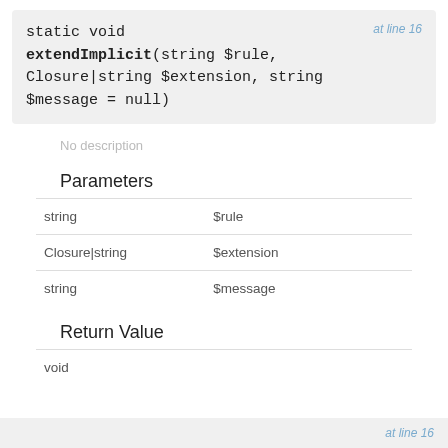static void extendImplicit(string $rule, Closure|string $extension, string $message = null)  at line 16
No description
Parameters
| string | $rule |
| Closure|string | $extension |
| string | $message |
Return Value
| void |  |